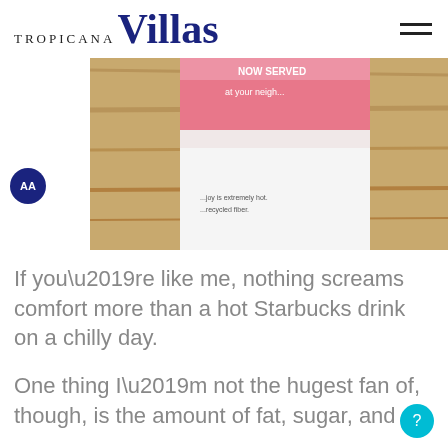Tropicana Villas
[Figure (photo): Close-up photo of a Starbucks pink holiday cup with text 'WE WARMLY WEL...', 'OULA...', 'NOW SERVED', 'at your neigh...' visible on the cup, set on a wooden surface.]
If you’re like me, nothing screams comfort more than a hot Starbucks drink on a chilly day.
One thing I’m not the hugest fan of, though, is the amount of fat, sugar, and